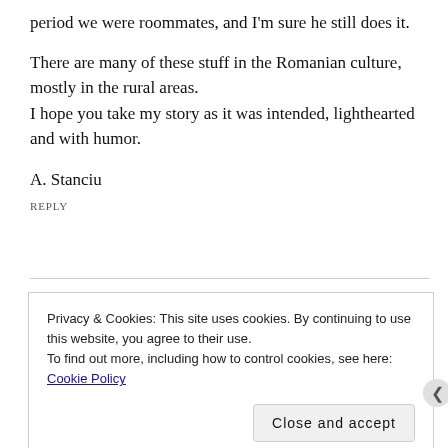period we were roommates, and I'm sure he still does it.
There are many of these stuff in the Romanian culture, mostly in the rural areas.
I hope you take my story as it was intended, lighthearted and with humor.
A. Stanciu
REPLY
Privacy & Cookies: This site uses cookies. By continuing to use this website, you agree to their use.
To find out more, including how to control cookies, see here: Cookie Policy